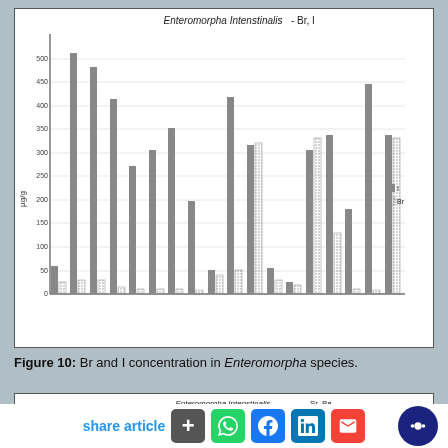[Figure (grouped-bar-chart): Enteromorpha Intenstinalis - Br, I]
Figure 10: Br and I concentration in Enteromorpha species.
[Figure (line-chart): Partial view of a line chart showing Sr and Ba concentrations in Enteromorpha Intenstinalis. Y-axis starts at 1000.]